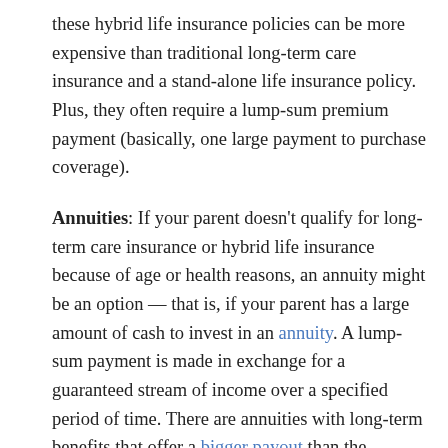these hybrid life insurance policies can be more expensive than traditional long-term care insurance and a stand-alone life insurance policy. Plus, they often require a lump-sum premium payment (basically, one large payment to purchase coverage).
Annuities: If your parent doesn't qualify for long-term care insurance or hybrid life insurance because of age or health reasons, an annuity might be an option — that is, if your parent has a large amount of cash to invest in an annuity. A lump-sum payment is made in exchange for a guaranteed stream of income over a specified period of time. There are annuities with long-term benefits that offer a bigger payout than the amount invested. However, few insurance companies offer these annuities, according to the American Association for